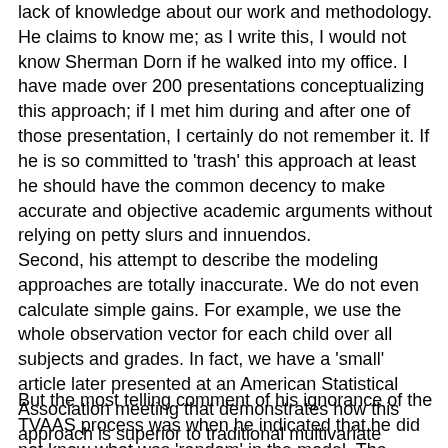lack of knowledge about our work and methodology. He claims to know me; as I write this, I would not know Sherman Dorn if he walked into my office. I have made over 200 presentations conceptualizing this approach; if I met him during and after one of those presentation, I certainly do not remember it. If he is so committed to 'trash' this approach at least he should have the common decency to make accurate and objective academic arguments without relying on petty slurs and innuendos.
Second, his attempt to describe the modeling approaches are totally inaccurate. We do not even calculate simple gains. For example, we use the whole observation vector for each child over all subjects and grades. In fact, we have a 'small' article later presented at an American Statistical Association meeting that demonstrates how this approach is superior to traditional multivariate approaches in that the whole observational vector is not lost due to one missing value for a variable.
But the most telling comment of his ignorance of the TVAAS process was when he indicated that he did not know what was 'random' in the model. The process is built on the